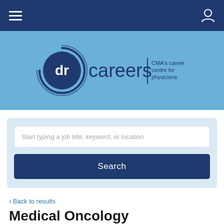dr careers | CMA's career centre for physicians
[Figure (logo): dr careers logo with circular dr emblem and CMA's career centre for physicians tagline]
Start typing a job title, keyword, or location
Search
< Back to results
Medical Oncology